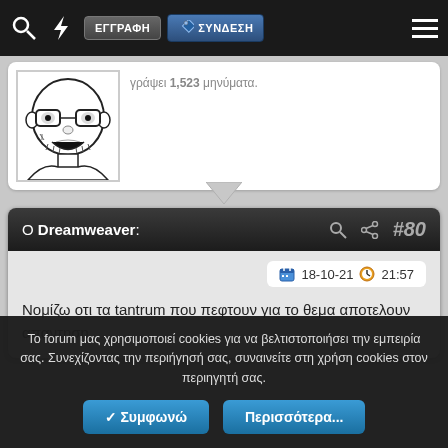ΕΓΓΡΑΦΗ ΣΥΝΔΕΣΗ
[Figure (illustration): Wojak/Soyjak meme face illustration — bald person with glasses and open mouth, black and white line drawing]
γράψει 1,523 μηνύματα.
Ο Dreamweaver: #80
18-10-21 21:57
Νομίζω οτι τα tantrum που πεφτουν για το θεμα αποτελουν απαντηση
Το forum μας χρησιμοποιεί cookies για να βελτιστοποιήσει την εμπειρία σας. Συνεχίζοντας την περιήγησή σας, συναινείτε στη χρήση cookies στον περιηγητή σας.